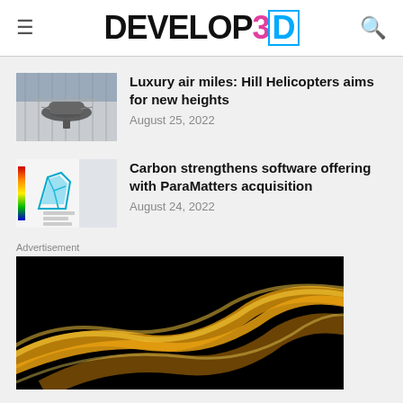DEVELOP3D
Luxury air miles: Hill Helicopters aims for new heights
August 25, 2022
Carbon strengthens software offering with ParaMatters acquisition
August 24, 2022
Advertisement
[Figure (photo): Advertisement image showing yellow/gold car bodywork detail on black background]